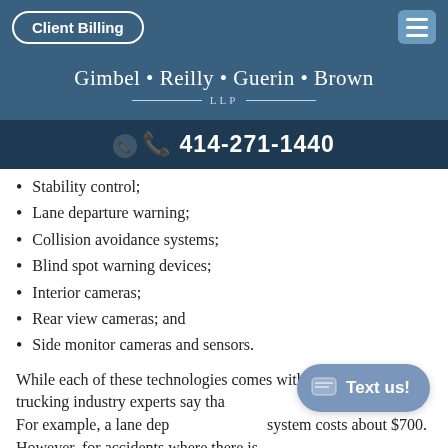Client Billing
Gimbel • Reilly • Guerin • Brown LLP
📞 414-271-1440
Stability control;
Lane departure warning;
Collision avoidance systems;
Blind spot warning devices;
Interior cameras;
Rear view cameras; and
Side monitor cameras and sensors.
While each of these technologies comes with a price tag, trucking industry experts say tha costly accidents. For example, a lane dep system costs about $700. However, for accidents where there is